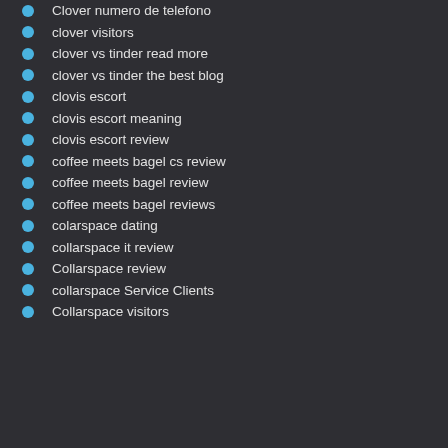Clover numero de telefono
clover visitors
clover vs tinder read more
clover vs tinder the best blog
clovis escort
clovis escort meaning
clovis escort review
coffee meets bagel cs review
coffee meets bagel review
coffee meets bagel reviews
colarspace dating
collarspace it review
Collarspace review
collarspace Service Clients
Collarspace visitors